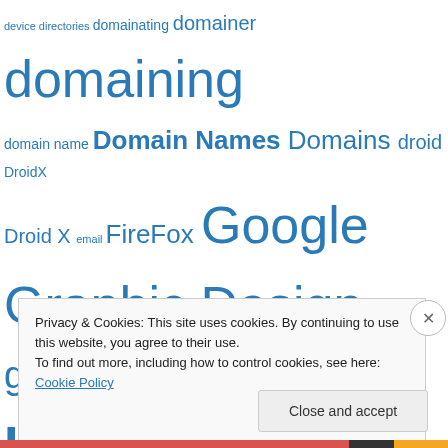[Figure (other): Tag cloud with terms of varying sizes in blue: device, directories, domainating, domainer, domaining, domain name, Domain Names, Domains, droid, DroidX, Droid X, email, FireFox, Google, Graphic Design, graphic designer, hand held, HTML, illustrator, laptop, marketer, marketing, Microsoft, mozilla, online marketing, password, Photoshop, premium domain names, Product Design, professionalism, resources, SEO, Sioux Falls, smartphone, smart phone, social blogging, Social]
Privacy & Cookies: This site uses cookies. By continuing to use this website, you agree to their use.
To find out more, including how to control cookies, see here: Cookie Policy
Close and accept